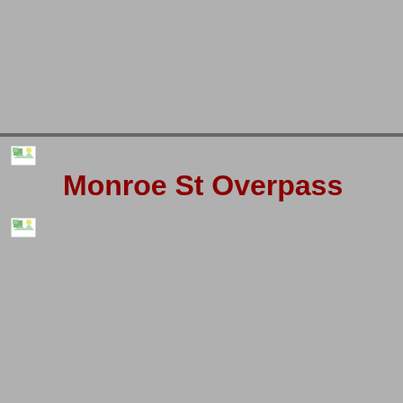[Figure (other): Broken image placeholder icon (small landscape thumbnail) near top-left below horizontal rule]
Monroe St Overpass
[Figure (other): Broken image placeholder icon (small landscape thumbnail) below title]